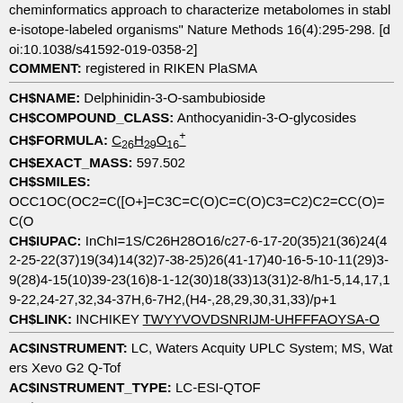cheminformatics approach to characterize metabolomes in stable-isotope-labeled organisms" Nature Methods 16(4):295-298. [doi:10.1038/s41592-019-0358-2]
COMMENT: registered in RIKEN PlaSMA
CH$NAME: Delphinidin-3-O-sambubioside
CH$COMPOUND_CLASS: Anthocyanidin-3-O-glycosides
CH$FORMULA: C26H29O16+
CH$EXACT_MASS: 597.502
CH$SMILES:
OCC1OC(OC2=C([O+]=C3C=C(O)C=C(O)C3=C2)C2=CC(O)=C(O
CH$IUPAC: InChI=1S/C26H28O16/c27-6-17-20(35)21(36)24(42-25-22(37)19(34)14(32)7-38-25)26(41-17)40-16-5-10-11(29)3-9(28)4-15(10)39-23(16)8-1-12(30)18(33)13(31)2-8/h1-5,14,17,19-22,24-27,32,34-37H,6-7H2,(H4-,28,29,30,31,33)/p+1
CH$LINK: INCHIKEY TWYYVOVDSNRIJM-UHFFFAOYSA-O
AC$INSTRUMENT: LC, Waters Acquity UPLC System; MS, Waters Xevo G2 Q-Tof
AC$INSTRUMENT_TYPE: LC-ESI-QTOF
AC$MASS_SPECTROMETRY: MS_TYPE: MS2